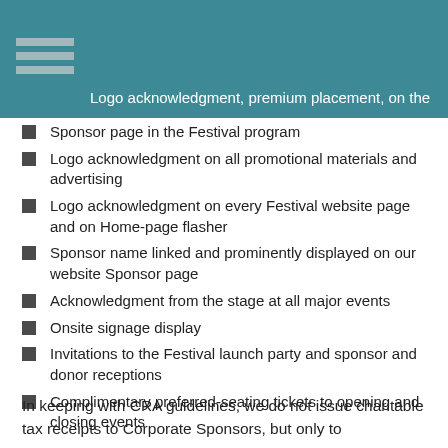Logo acknowledgment, premium placement, on the Sponsor page in the Festival program
Logo acknowledgment on all promotional materials and advertising
Logo acknowledgment on every Festival website page and on Home-page flasher
Sponsor name linked and prominently displayed on our website Sponsor page
Acknowledgment from the stage at all major events
Onsite signage display
Invitations to the Festival launch party and sponsor and donor receptions
Complimentary preferred-seating tickets to opening and closing events
In keeping with CRA guidelines, we do not issue charitable tax receipts to Corporate Sponsors, but only to